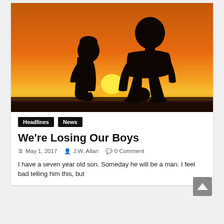[Figure (photo): Silhouette of two figures (a child and an adult) sitting side by side against a vivid orange and yellow sunset sky]
Headlines   News
We're Losing Our Boys
May 1, 2017   J.W. Allan   0 Comment
I have a seven year old son. Someday he will be a man. I feel bad telling him this, but